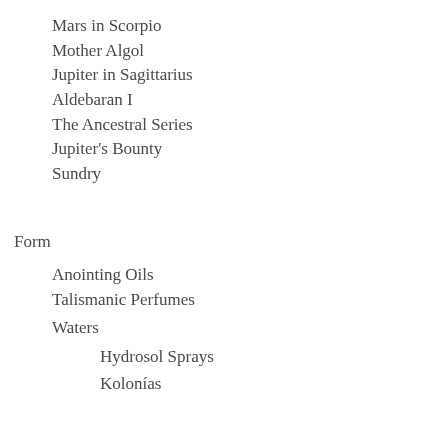Mars in Scorpio
Mother Algol
Jupiter in Sagittarius
Aldebaran I
The Ancestral Series
Jupiter's Bounty
Sundry
Form
Anointing Oils
Talismanic Perfumes
Waters
Hydrosol Sprays
Kolonías